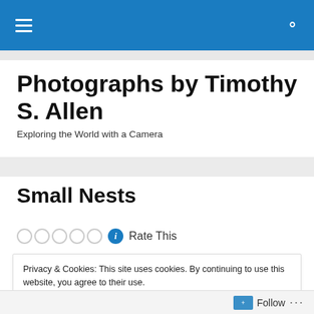Navigation bar with hamburger menu and search icon
Photographs by Timothy S. Allen
Exploring the World with a Camera
Small Nests
Rate This
Privacy & Cookies: This site uses cookies. By continuing to use this website, you agree to their use.
To find out more, including how to control cookies, see here: Cookie Policy
Close and accept
Follow